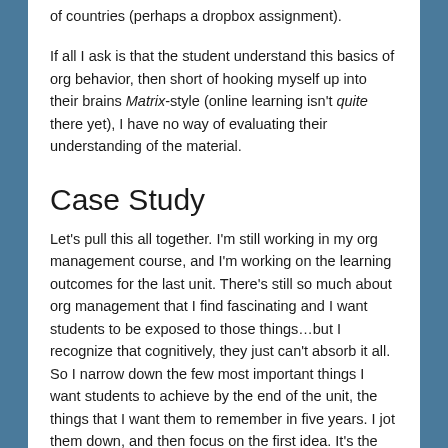of countries (perhaps a dropbox assignment).
If all I ask is that the student understand this basics of org behavior, then short of hooking myself up into their brains Matrix-style (online learning isn't quite there yet), I have no way of evaluating their understanding of the material.
Case Study
Let's pull this all together. I'm still working in my org management course, and I'm working on the learning outcomes for the last unit. There's still so much about org management that I find fascinating and I want students to be exposed to those things…but I recognize that cognitively, they just can't absorb it all. So I narrow down the few most important things I want students to achieve by the end of the unit, the things that I want them to remember in five years. I jot them down, and then focus on the first idea. It's the last unit, so I want to ground the theories we have been covering in reality. I jot down my first item: